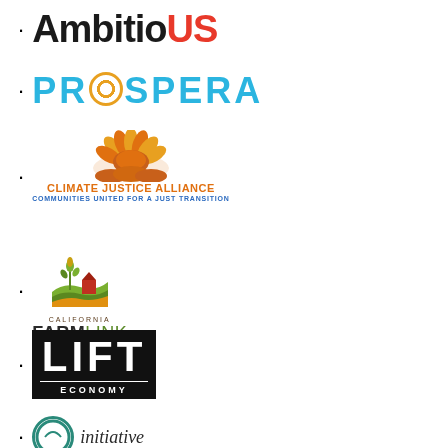AmbitioUS
PROSPERA
Climate Justice Alliance – Communities United for a Just Transition
California FarmLink
LIFT Economy
initiative (partial)